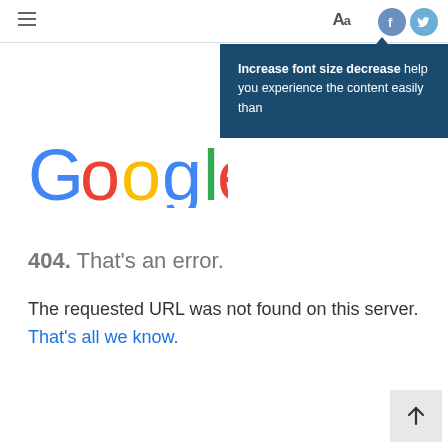Menu | Aa | Facebook | Twitter
Increase font size decrease help you experience the content easily than
[Figure (logo): Google logo in multicolor letters]
404. That's an error.
The requested URL was not found on this server. That's all we know.